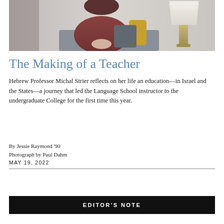[Figure (photo): Photograph of Hebrew Professor Michal Strier seated, wearing a dark red/maroon knit sweater, with hands folded in lap, a lamp visible in the background]
The Making of a Teacher
Hebrew Professor Michal Strier reflects on her life an education—in Israel and the States—a journey that led the Language School instructor to the undergraduate College for the first time this year.
By Jessie Raymond '90
Photograph by Paul Dahm
MAY 19, 2022
EDITOR'S NOTE